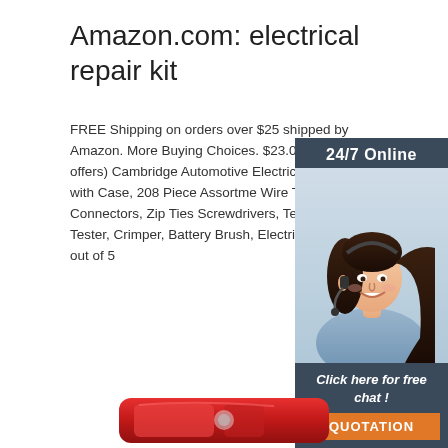Amazon.com: electrical repair kit
FREE Shipping on orders over $25 shipped by Amazon. More Buying Choices. $23.03 (2 new offers) Cambridge Automotive Electrical Repair Kit with Case, 208 Piece Assortment Wire Terminals, Wire Connectors, Zip Ties Screwdrivers, Test Leads, Tester, Crimper, Battery Brush, Electrical Tape. 4.7 out of 5
[Figure (photo): Advertisement panel with a smiling woman wearing a headset, text '24/7 Online', 'Click here for free chat!', and a QUOTATION button]
Get Price
[Figure (photo): Red automotive tail light or similar red plastic car component at the bottom of the page]